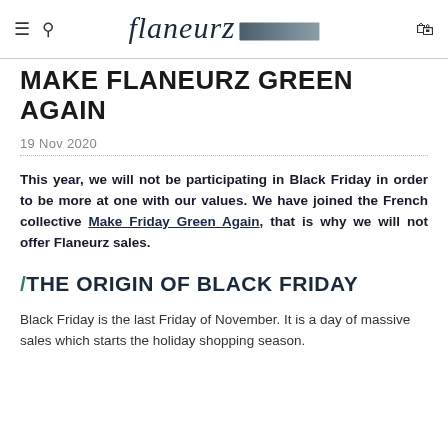Flaneurz
MAKE FLANEURZ GREEN AGAIN
19 Nov 2020
This year, we will not be participating in Black Friday in order to be more at one with our values. We have joined the French collective Make Friday Green Again, that is why we will not offer Flaneurz sales.
/THE ORIGIN OF BLACK FRIDAY
Black Friday is the last Friday of November. It is a day of massive sales which starts the holiday shopping season.